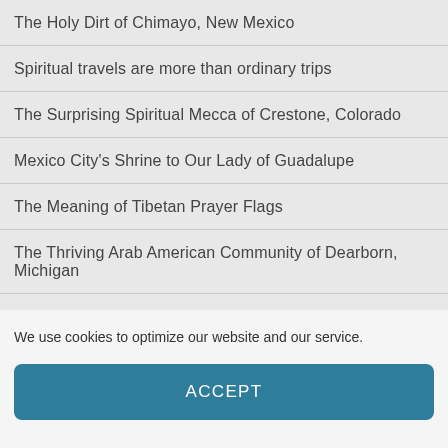The Holy Dirt of Chimayo, New Mexico
Spiritual travels are more than ordinary trips
The Surprising Spiritual Mecca of Crestone, Colorado
Mexico City's Shrine to Our Lady of Guadalupe
The Meaning of Tibetan Prayer Flags
The Thriving Arab American Community of Dearborn, Michigan
Lourdes: The World's Most Famous Healing Shrine
We use cookies to optimize our website and our service.
ACCEPT